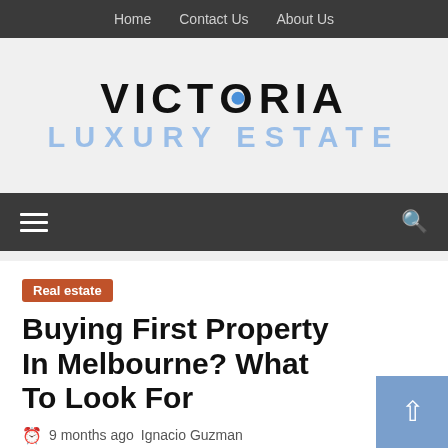Home   Contact Us   About Us
VICTORIA LUXURY ESTATE
≡  🔍
Real estate
Buying First Property In Melbourne? What To Look For
9 months ago   Ignacio Guzman